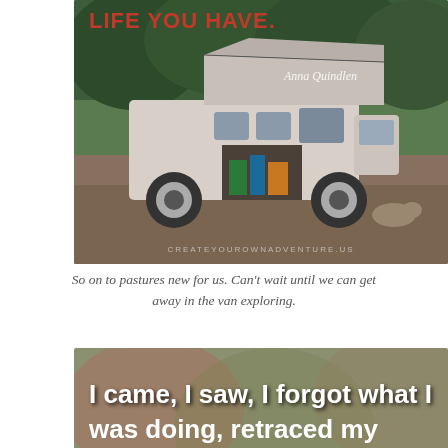[Figure (photo): Photo of a white VW Transporter van with pop-top roof raised, parked outdoors with trees in background. Text overlay at top reads 'LIFE YOU HAVE.' in bold red letters, with 'Anna Quindlen' in cursive white text. URL 'CREATEYOUROWNADVENTURE.US' at bottom.]
So on to pastures new for us. Can't wait until we can get away in the van exploring.
[Figure (photo): Photo with blurred outdoor background (flowers/foliage). Bold white text reads 'I came, I saw, I forgot what I was doing, retraced my steps, and got distracted on...']